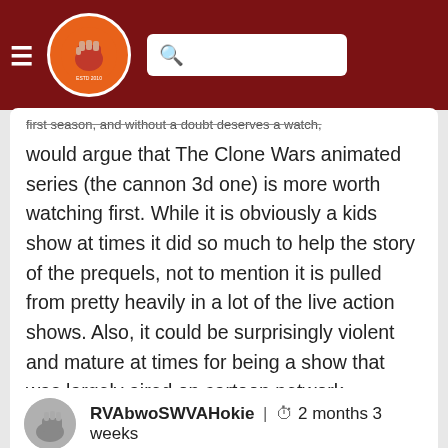The Key Play — navigation header with logo and search
first season, and without a doubt deserves a watch, I would argue that The Clone Wars animated series (the cannon 3d one) is more worth watching first. While it is obviously a kids show at times it did so much to help the story of the prequels, not to mention it is pulled from pretty heavily in a lot of the live action shows. Also, it could be surprisingly violent and mature at times for being a show that was largely aired on cartoon network.
"Hokie religions and ancient weapons are no match for a good blaster at your side, kid." Han Solo
Log in or register to post comments about the Virginia Tech Hokies
RVAbwoSWVAHokie | 2 months 3 weeks